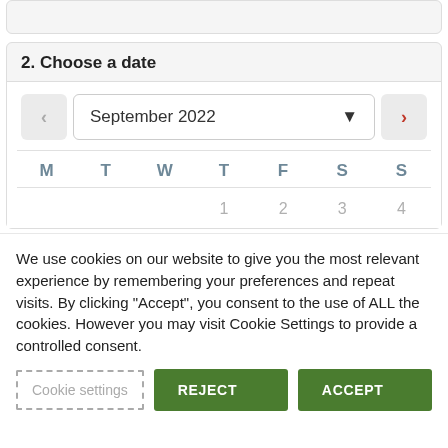2. Choose a date
[Figure (screenshot): Calendar date picker showing September 2022 with navigation arrows, day-of-week headers M T W T F S S, and first row of dates 1 2 3 4]
We use cookies on our website to give you the most relevant experience by remembering your preferences and repeat visits. By clicking “Accept”, you consent to the use of ALL the cookies. However you may visit Cookie Settings to provide a controlled consent.
Cookie settings   REJECT   ACCEPT